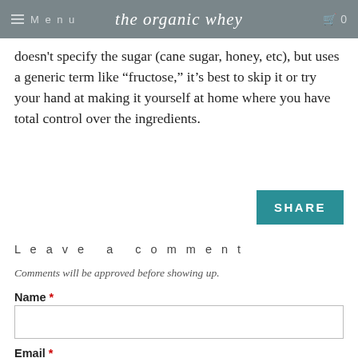Menu | the organic whey | 0
doesn't specify the sugar (cane sugar, honey, etc), but uses a generic term like “fructose,” it’s best to skip it or try your hand at making it yourself at home where you have total control over the ingredients.
SHARE
Leave a comment
Comments will be approved before showing up.
Name *
Email *